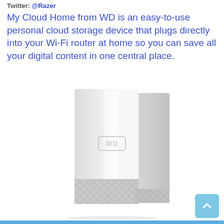Twitter: @Razer
My Cloud Home from WD is an easy-to-use personal cloud storage device that plugs directly into your Wi-Fi router at home so you can save all your digital content in one central place.
[Figure (photo): White WD My Cloud Home personal cloud storage device — a tall rectangular unit with a glossy white upper body and a textured diamond-pattern silver lower base, featuring the WD logo on the front.]